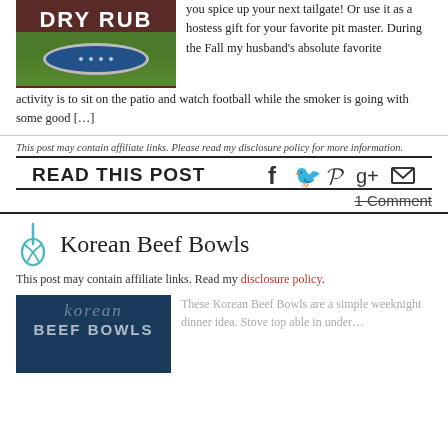[Figure (photo): Dry Rub mason jar with dark brown header and blue-lidded jar on grass background]
you spice up your next tailgate! Or use it as a hostess gift for your favorite pit master. During the Fall my husband's absolute favorite activity is to sit on the patio and watch football while the smoker is going with some good […]
This post may contain affiliate links. Please read my disclosure policy for more information.
READ THIS POST
1 Comment
Korean Beef Bowls
This post may contain affiliate links. Read my disclosure policy.
[Figure (photo): Korean Beef Bowls dark blue header image with script and block text]
These Korean Beef Bowls are a simple weeknight dinner idea. Stove top able in under…